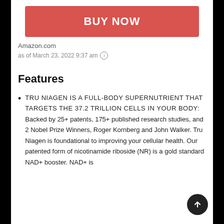[Figure (other): Red BUY NOW button]
Amazon.com
as of March 23, 2022 9:37 am ⓘ
Features
TRU NIAGEN IS A FULL-BODY SUPERNUTRIENT THAT TARGETS THE 37.2 TRILLION CELLS IN YOUR BODY: Backed by 25+ patents, 175+ published research studies, and 2 Nobel Prize Winners, Roger Kornberg and John Walker. Tru Niagen is foundational to improving your cellular health. Our patented form of nicotinamide riboside (NR) is a gold standard NAD+ booster. NAD+ is